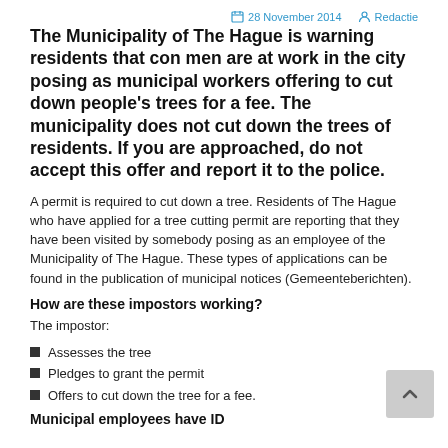28 November 2014   Redactie
The Municipality of The Hague is warning residents that con men are at work in the city posing as municipal workers offering to cut down people's trees for a fee. The municipality does not cut down the trees of residents. If you are approached, do not accept this offer and report it to the police.
A permit is required to cut down a tree. Residents of The Hague who have applied for a tree cutting permit are reporting that they have been visited by somebody posing as an employee of the Municipality of The Hague. These types of applications can be found in the publication of municipal notices (Gemeenteberichten).
How are these impostors working?
The impostor:
Assesses the tree
Pledges to grant the permit
Offers to cut down the tree for a fee.
Municipal employees have ID